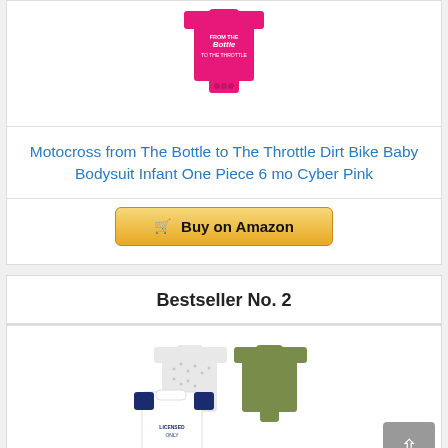[Figure (photo): Pink baby bodysuit with text on it, partially visible at top of page]
Motocross from The Bottle to The Throttle Dirt Bike Baby Bodysuit Infant One Piece 6 mo Cyber Pink
Buy on Amazon
Bestseller No. 2
[Figure (photo): Multiple baby bodysuits in various colors and patterns including white, olive green, and navy blue with motocross/dirt bike graphics]